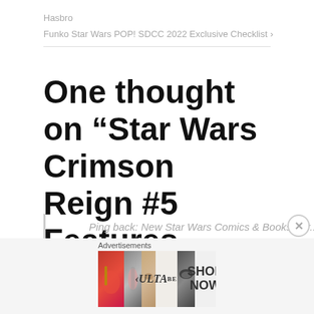Hasbro
Funko Star Wars POP! SDCC 2022 Exclusive Checklist >
One thought on “Star Wars Crimson Reign #5 Features Mysterious First Appearance of Director Barsha”
Ping back: New Star Wars Comics & Books For...
Advertisements
[Figure (photo): ULTA beauty advertisement banner showing makeup products and eyes]